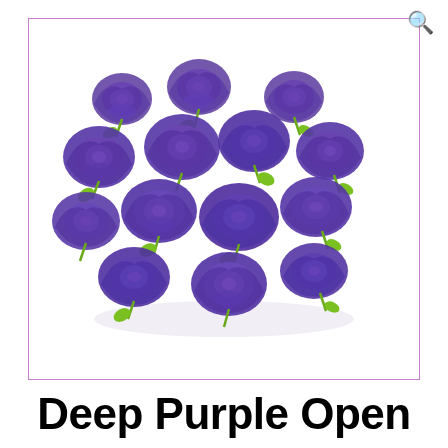[Figure (photo): A cluster of deep purple open paper roses with green wire stems, photographed on a white background, inside a thin purple-pink bordered rectangle. A magnifying glass search icon appears in the top-right corner outside the image frame.]
Deep Purple Open